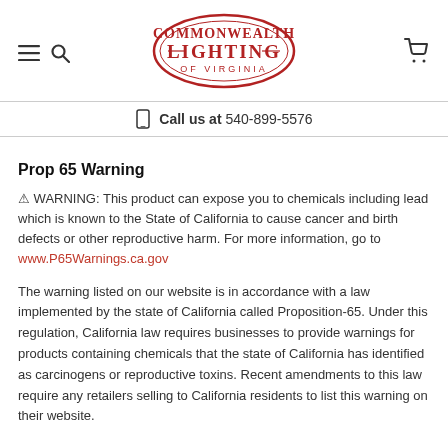Commonwealth Lighting of Virginia — navigation header with logo, hamburger menu, search, cart icons, and phone number 540-899-5576
Prop 65 Warning
⚠ WARNING: This product can expose you to chemicals including lead which is known to the State of California to cause cancer and birth defects or other reproductive harm. For more information, go to www.P65Warnings.ca.gov
The warning listed on our website is in accordance with a law implemented by the state of California called Proposition-65. Under this regulation, California law requires businesses to provide warnings for products containing chemicals that the state of California has identified as carcinogens or reproductive toxins. Recent amendments to this law require any retailers selling to California residents to list this warning on their website.